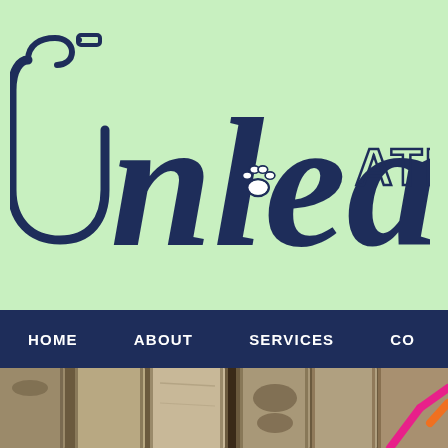[Figure (logo): Unleash ATL logo on light green background. Large dark navy script/handwritten text reading 'Unleash' with a dog leash forming the U, a paw print in the middle of the 'a', and 'ATL' in block letters as superscript to the right.]
HOME   ABOUT   SERVICES   CO
[Figure (photo): Close-up photo of wooden fence boards/planks in muted brown and grey tones, with a bright pink and orange dog leash visible at the bottom right corner.]